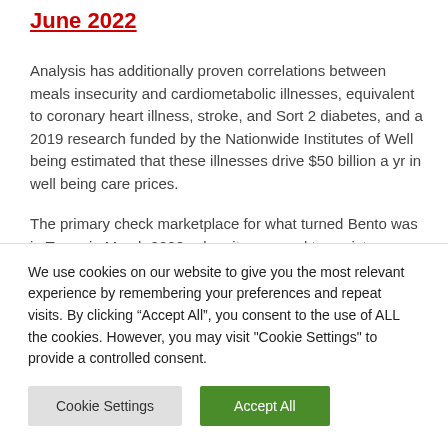June 2022
Analysis has additionally proven correlations between meals insecurity and cardiometabolic illnesses, equivalent to coronary heart illness, stroke, and Sort 2 diabetes, and a 2019 research funded by the Nationwide Institutes of Well being estimated that these illnesses drive $50 billion a yr in well being care prices.
The primary check marketplace for what turned Bento was in Texas in March 2020, when it was used to assist
We use cookies on our website to give you the most relevant experience by remembering your preferences and repeat visits. By clicking “Accept All”, you consent to the use of ALL the cookies. However, you may visit "Cookie Settings" to provide a controlled consent.